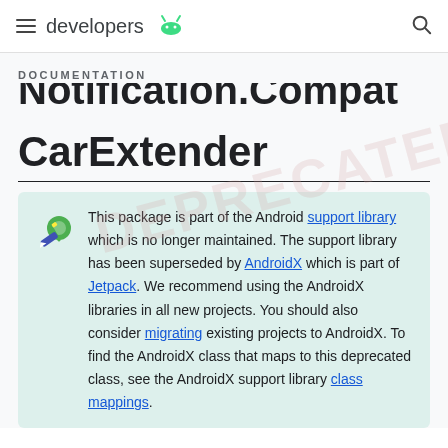developers
DOCUMENTATION
Notification.CarExtender
This package is part of the Android support library which is no longer maintained. The support library has been superseded by AndroidX which is part of Jetpack. We recommend using the AndroidX libraries in all new projects. You should also consider migrating existing projects to AndroidX. To find the AndroidX class that maps to this deprecated class, see the AndroidX support library class mappings.